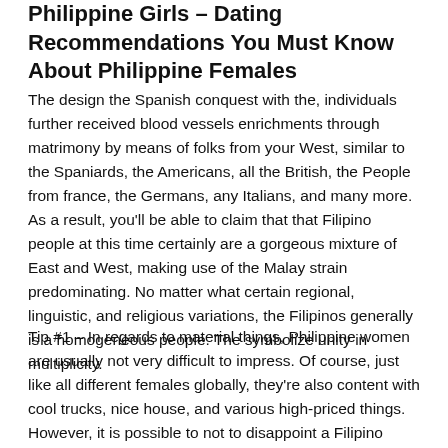Philippine Girls – Dating Recommendations You Must Know About Philippine Females
The design the Spanish conquest with the, individuals further received blood vessels enrichments through matrimony by means of folks from your West, similar to the Spaniards, the Americans, all the British, the People from france, the Germans, any Italians, and many more. As a result, you'll be able to claim that that Filipino people at this time certainly are a gorgeous mixture of East and West, making use of the Malay strain predominating. No matter what certain regional, linguistic, and religious variations, the Filipinos generally is a homogeneous people. The symbolize unity in multiplicity.
Tip #1 – In regards to material things, Philippine women are usually not very difficult to impress. Of course, just like all different females globally, they're also content with cool trucks, nice house, and various high-priced things. However, it is possible to not to disappoint a Filipino woman about it since she…